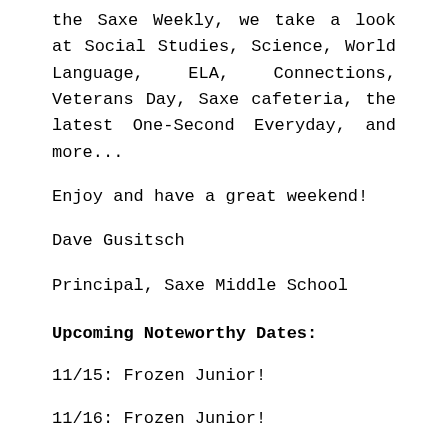the Saxe Weekly, we take a look at Social Studies, Science, World Language, ELA, Connections, Veterans Day, Saxe cafeteria, the latest One-Second Everyday, and more...
Enjoy and have a great weekend!
Dave Gusitsch
Principal, Saxe Middle School
Upcoming Noteworthy Dates:
11/15: Frozen Junior!
11/16: Frozen Junior!